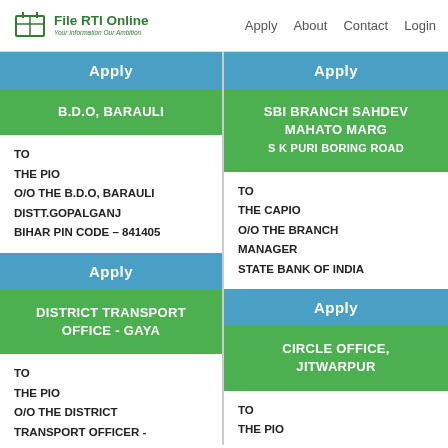File RTI Online | Apply  About  Contact  Login
Apply
B.D.O, BARAULI
TO
THE PIO
O/O THE B.D.O, BARAULI
DISTT.GOPALGANJ
BIHAR PIN CODE – 841405
Apply
DISTRICT TRANSPORT OFFICE - GAYA
TO
THE PIO
O/O THE DISTRICT
TRANSPORT OFFICER -
Apply
SBI BRANCH SAHDEV MAHATO MARG
S K PURI BORING ROAD
TO
THE CAPIO
O/O THE BRANCH
MANAGER
STATE BANK OF INDIA
Apply
CIRCLE OFFICE, JITWARPUR
TO
THE PIO
O/O THE CIRCLE OFFICER,